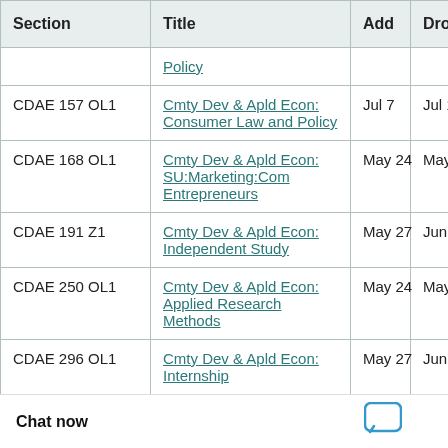| Section | Title | Add | Drop |  |
| --- | --- | --- | --- | --- |
|  | Policy |  |  |  |
| CDAE 157 OL1 | Cmty Dev & Apld Econ: Consumer Law and Policy | Jul 7 | Jul 11 |  |
| CDAE 168 OL1 | Cmty Dev & Apld Econ: SU:Marketing:Com Entrepreneurs | May 24 | May 25 |  |
| CDAE 191 Z1 | Cmty Dev & Apld Econ: Independent Study | May 27 | Jun 3 |  |
| CDAE 250 OL1 | Cmty Dev & Apld Econ: Applied Research Methods | May 24 | May 25 |  |
| CDAE 296 OL1 | Cmty Dev & Apld Econ: Internship | May 27 | Jun 3 |  |
| CDAE 351 OL1 | Cmty Dev & Apld Econ: Research & Evaluation Methods | May 24 | May 25 |  |
|  | l Engr: | May 25 | May 27 |  |
Chat now